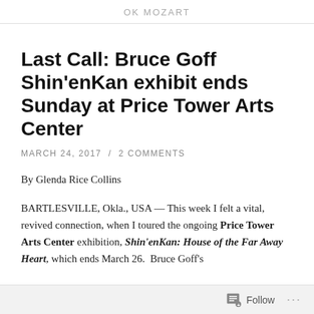OK MOZART
Last Call: Bruce Goff Shin’enKan exhibit ends Sunday at Price Tower Arts Center
MARCH 24, 2017  /  2 COMMENTS
By Glenda Rice Collins
BARTLESVILLE, Okla., USA — This week I felt a vital, revived connection, when I toured the ongoing Price Tower Arts Center exhibition, Shin’enKan: House of the Far Away Heart, which ends March 26.  Bruce Goff’s
Follow